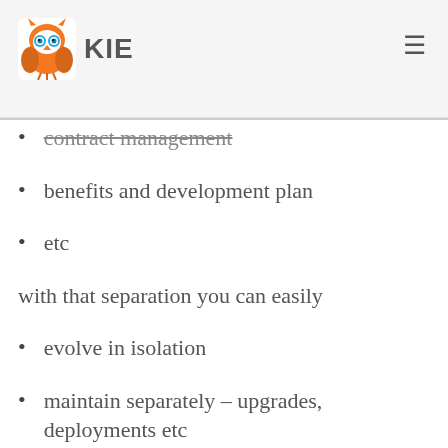KIE
contract management
benefits and development plan
etc
with that separation you can easily
evolve in isolation
maintain separately – upgrades, deployments etc
scale individual parts
federate systems to build portal like entry